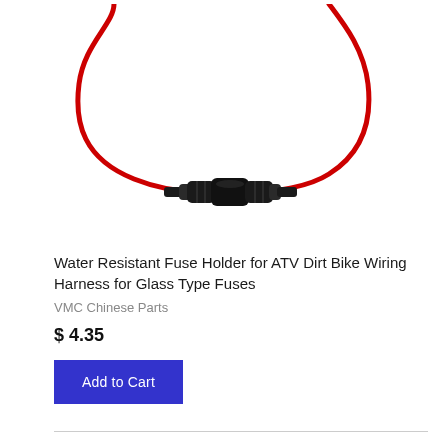[Figure (photo): Product photo of a water resistant inline fuse holder with a black cylindrical body and red wire leads, shown against a white background. The red wire loops in a circular arc around the black fuse holder housing.]
Water Resistant Fuse Holder for ATV Dirt Bike Wiring Harness for Glass Type Fuses
VMC Chinese Parts
$ 4.35
Add to Cart